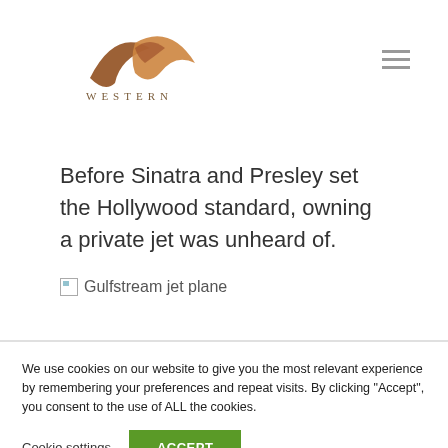[Figure (logo): Western logo — stylized swoosh graphic in brown/copper tones above the word WESTERN in spaced serif capitals]
Before Sinatra and Presley set the Hollywood standard, owning a private jet was unheard of.
[Figure (photo): Broken image placeholder labeled 'Gulfstream jet plane']
We use cookies on our website to give you the most relevant experience by remembering your preferences and repeat visits. By clicking "Accept", you consent to the use of ALL the cookies.
Cookie settings  ACCEPT